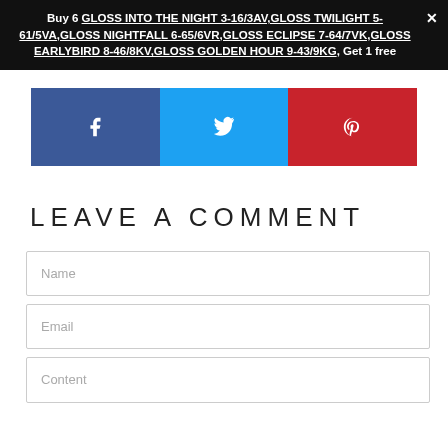Buy 6 GLOSS INTO THE NIGHT 3-16/3AV,GLOSS TWILIGHT 5-61/5VA,GLOSS NIGHTFALL 6-65/6VR,GLOSS ECLIPSE 7-64/7VK,GLOSS EARLYBIRD 8-46/8KV,GLOSS GOLDEN HOUR 9-43/9KG, Get 1 free
[Figure (infographic): Social share buttons: Facebook (blue), Twitter (cyan), Pinterest (red) with respective icons]
LEAVE A COMMENT
Name
Email
Content